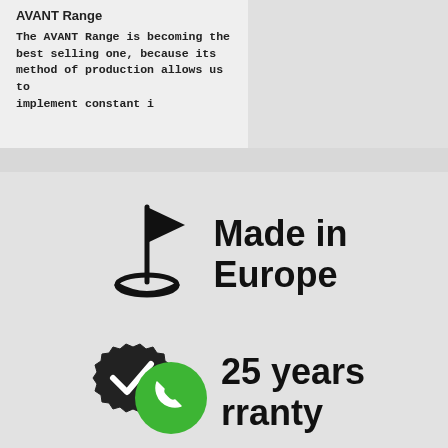AVANT Range
The AVANT Range is becoming the best selling one, because its method of production allows us to implement constant i
[Figure (illustration): Golf flag hole icon — dark silhouette of a flag on a golf hole with circular base, used as a 'Made in Europe' badge icon]
Made in Europe
[Figure (illustration): Badge/seal icon with a checkmark, alongside a green circular phone/call icon, used for warranty section]
25 years warranty